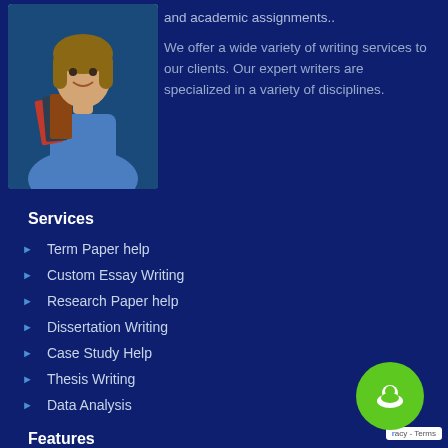[Figure (photo): Young woman student smiling, holding books, wearing denim jacket]
and academic assignments..
We offer a wide variety of writing services to our clients. Our expert writers are specialized in a variety of disciplines.
Services
Term Paper help
Custom Essay Writing
Research Paper help
Dissertation Writing
Case Study Help
Thesis Writing
Data Analysis
Features
[Figure (other): Green chat bubble icon with person silhouette, and reCAPTCHA privacy terms badge]